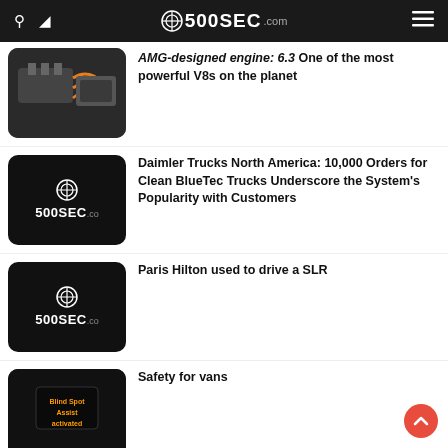500SEC.com
AMG-designed engine: 6.3 One of the most powerful V8s on the planet
Daimler Trucks North America: 10,000 Orders for Clean BlueTec Trucks Underscore the System’s Popularity with Customers
Paris Hilton used to drive a SLR
Safety for vans